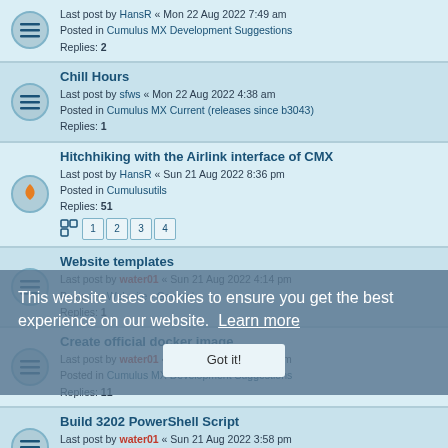Last post by HansR « Mon 22 Aug 2022 7:49 am
Posted in Cumulus MX Development Suggestions
Replies: 2
Chill Hours
Last post by sfws « Mon 22 Aug 2022 4:38 am
Posted in Cumulus MX Current (releases since b3043)
Replies: 1
Hitchhiking with the Airlink interface of CMX
Last post by HansR « Sun 21 Aug 2022 8:36 pm
Posted in Cumulusutils
Replies: 51
Website templates
Last post by water01 « Sun 21 Aug 2022 4:14 pm
Posted in Web site - General
Replies: 1
Create official docker image
Last post by water01 « Sun 21 Aug 2022 4:01 pm
Posted in Cumulus MX Development Suggestions
Replies: 11
Build 3202 PowerShell Script
Last post by water01 « Sun 21 Aug 2022 3:58 pm
Posted in Cumulus MX Current (releases since b3043)
Replies: 2
API changes in 3190?
Last post by jbatchelor51 « Sun 21 Aug 2022 3:26 pm
Posted in Cumulus MX Current (releases since b3043)
Replies: 8
Site Logo extension issues
Last post by freddie « Sun 21 Aug 2022 10:34 am
Posted in Announcements and News
This website uses cookies to ensure you get the best experience on our website. Learn more